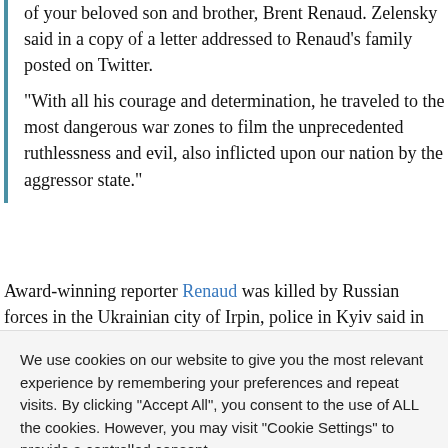of your beloved son and brother, Brent Renaud. Zelensky said in a copy of a letter addressed to Renaud's family posted on Twitter.
“With all his courage and determination, he traveled to the most dangerous war zones to film the unprecedented ruthlessness and evil, also inflicted upon our nation by the aggressor state.”
Award-winning reporter Renaud was killed by Russian forces in the Ukrainian city of Irpin, police in Kyiv said in
We use cookies on our website to give you the most relevant experience by remembering your preferences and repeat visits. By clicking “Accept All”, you consent to the use of ALL the cookies. However, you may visit "Cookie Settings" to provide a controlled consent.